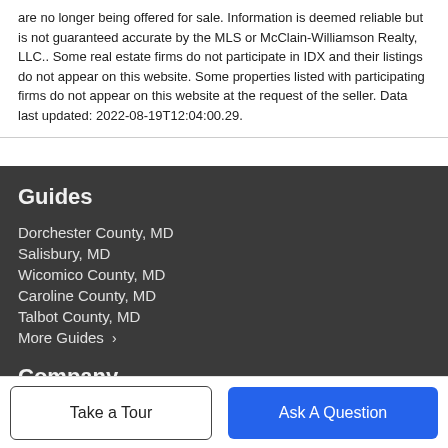are no longer being offered for sale. Information is deemed reliable but is not guaranteed accurate by the MLS or McClain-Williamson Realty, LLC.. Some real estate firms do not participate in IDX and their listings do not appear on this website. Some properties listed with participating firms do not appear on this website at the request of the seller. Data last updated: 2022-08-19T12:04:00.29.
Guides
Dorchester County, MD
Salisbury, MD
Wicomico County, MD
Caroline County, MD
Talbot County, MD
More Guides ›
Company
Take a Tour
Ask A Question